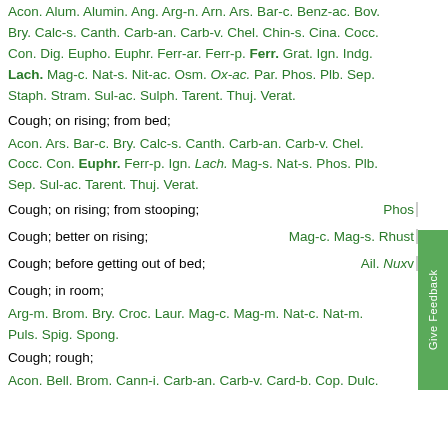Acon. Alum. Alumin. Ang. Arg-n. Arn. Ars. Bar-c. Benz-ac. Bov. Bry. Calc-s. Canth. Carb-an. Carb-v. Chel. Chin-s. Cina. Cocc. Con. Dig. Eupho. Euphr. Ferr-ar. Ferr-p. Ferr. Grat. Ign. Indg. Lach. Mag-c. Nat-s. Nit-ac. Osm. Ox-ac. Par. Phos. Plb. Sep. Staph. Stram. Sul-ac. Sulph. Tarent. Thuj. Verat.
Cough; on rising; from bed;
Acon. Ars. Bar-c. Bry. Calc-s. Canth. Carb-an. Carb-v. Chel. Cocc. Con. Euphr. Ferr-p. Ign. Lach. Mag-s. Nat-s. Phos. Plb. Sep. Sul-ac. Tarent. Thuj. Verat.
Cough; on rising; from stooping;
Pho[s]
Cough; better on rising;
Mag-c. Mag-s. Rhus[t]
Cough; before getting out of bed;
Ail. Nux[v]
Cough; in room;
Arg-m. Brom. Bry. Croc. Laur. Mag-c. Mag-m. Nat-c. Nat-m. Puls. Spig. Spong.
Cough; rough;
Acon. Bell. Brom. Cann-i. Carb-an. Carb-v. Card-b. Cop. Dulc.